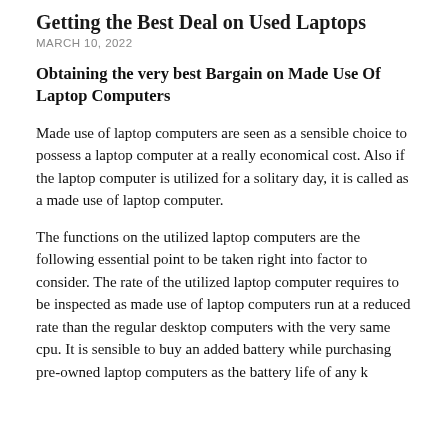Getting the Best Deal on Used Laptops
MARCH 10, 2022
Obtaining the very best Bargain on Made Use Of Laptop Computers
Made use of laptop computers are seen as a sensible choice to possess a laptop computer at a really economical cost. Also if the laptop computer is utilized for a solitary day, it is called as a made use of laptop computer.
The functions on the utilized laptop computers are the following essential point to be taken right into factor to consider. The rate of the utilized laptop computer requires to be inspected as made use of laptop computers run at a reduced rate than the regular desktop computers with the very same cpu. It is sensible to buy an added battery while purchasing pre-owned laptop computers as the battery life of any k...